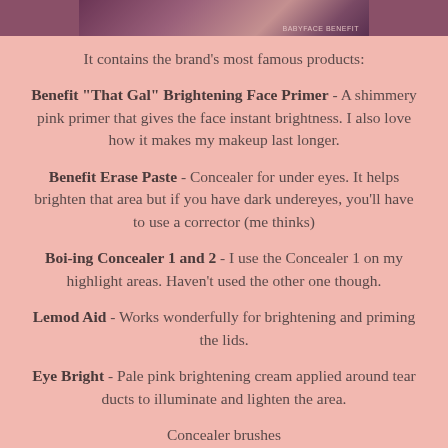[Figure (photo): Partial view of a beauty/makeup product image cropped at the top of the page]
It contains the brand's most famous products:
Benefit "That Gal" Brightening Face Primer - A shimmery pink primer that gives the face instant brightness. I also love how it makes my makeup last longer.
Benefit Erase Paste - Concealer for under eyes. It helps brighten that area but if you have dark undereyes, you'll have to use a corrector (me thinks)
Boi-ing Concealer 1 and 2 - I use the Concealer 1 on my highlight areas. Haven't used the other one though.
Lemod Aid - Works wonderfully for brightening and priming the lids.
Eye Bright - Pale pink brightening cream applied around tear ducts to illuminate and lighten the area.
Concealer brushes